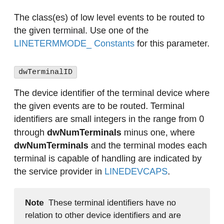The class(es) of low level events to be routed to the given terminal. Use one of the LINETERMMODE_ Constants for this parameter.
dwTerminalID
The device identifier of the terminal device where the given events are to be routed. Terminal identifiers are small integers in the range from 0 through dwNumTerminals minus one, where dwNumTerminals and the terminal modes each terminal is capable of handling are indicated by the service provider in LINEDEVCAPS.
Note  These terminal identifiers have no relation to other device identifiers and are defined by the service provider through device capabilities. TAPI does not validate this parameter when this function is called.